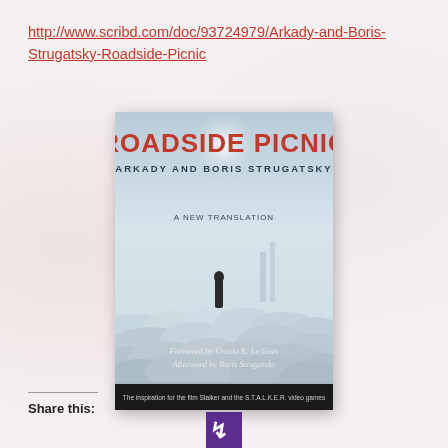http://www.scribd.com/doc/93724979/Arkady-and-Boris-Strugatsky-Roadside-Picnic
[Figure (photo): Book cover of 'Roadside Picnic' by Arkady and Boris Strugatsky. A new translation. Cover shows a figure standing in a foggy, surreal landscape of rounded pale shapes. Text includes 'Foreword by Ursula K. Le Guin' and 'Afterword by Boris Strugatsky'. Bottom banner reads 'The inspiration for the film Stalker and the S.T.A.L.K.E.R. video games'. Publisher logo (Chicago Review Press) shown below the cover.]
Share this: